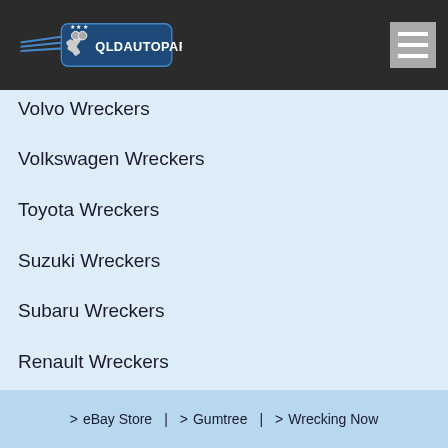[Figure (logo): QLDAUTOPARTS logo with wings and crossed pistons on dark background]
Volvo Wreckers
Volkswagen Wreckers
Toyota Wreckers
Suzuki Wreckers
Subaru Wreckers
Renault Wreckers
> eBay Store  |  > Gumtree  |  > Wrecking Now